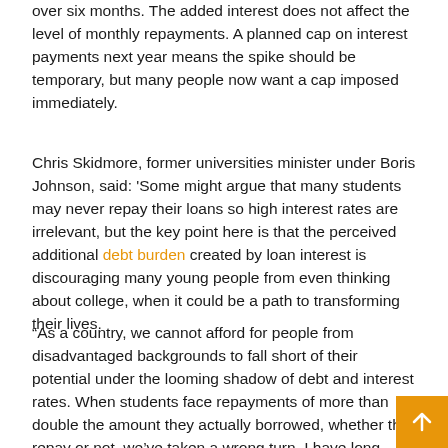over six months. The added interest does not affect the level of monthly repayments. A planned cap on interest payments next year means the spike should be temporary, but many people now want a cap imposed immediately.
Chris Skidmore, former universities minister under Boris Johnson, said: 'Some might argue that many students may never repay their loans so high interest rates are irrelevant, but the key point here is that the perceived additional debt burden created by loan interest is discouraging many young people from even thinking about college, when it could be a path to transforming their lives.
“As a country, we cannot afford for people from disadvantaged backgrounds to fall short of their potential under the looming shadow of debt and interest rates. When students face repayments of more than double the amount they actually borrowed, whether they repay or not, we’ve taken a wrong turn. I have long called for action on this, even as university minister in 2019. Rates were 6% then – with students facing a doubling